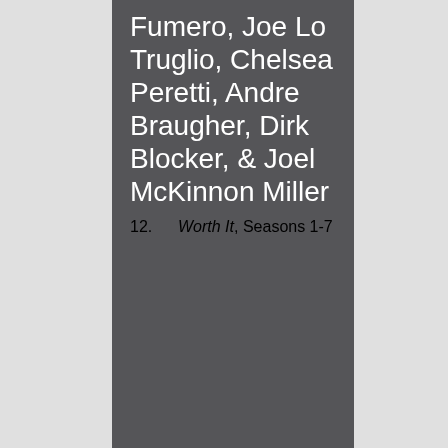Fumero, Joe Lo Truglio, Chelsea Peretti, Andre Braugher, Dirk Blocker, & Joel McKinnon Miller
12. Worth It, Seasons 1-7